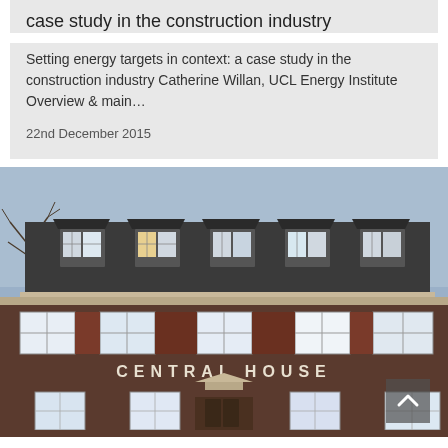case study in the construction industry
Setting energy targets in context: a case study in the construction industry Catherine Willan, UCL Energy Institute Overview & main...
22nd December 2015
[Figure (photo): Exterior photograph of Central House, a large multi-storey brick building with mansard roof and dormer windows. The words CENTRAL HOUSE are displayed on the facade. Photo taken in winter with bare tree visible at left.]